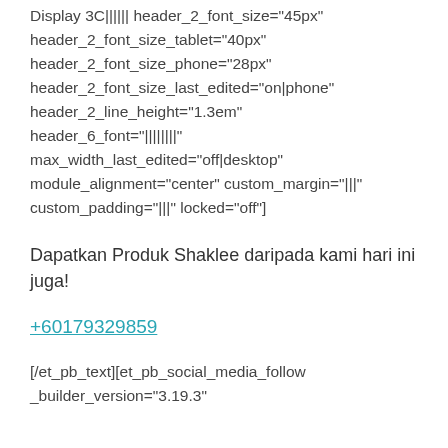Display 3C|||||| header_2_font_size="45px" header_2_font_size_tablet="40px" header_2_font_size_phone="28px" header_2_font_size_last_edited="on|phone" header_2_line_height="1.3em" header_6_font="||||||||" max_width_last_edited="off|desktop" module_alignment="center" custom_margin="|||" custom_padding="|||" locked="off"]
Dapatkan Produk Shaklee daripada kami hari ini juga!
+60179329859
[/et_pb_text][et_pb_social_media_follow _builder_version="3.19.3"